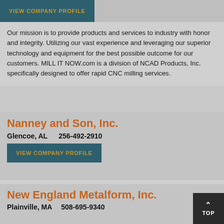VIEW COMPANY PROFILE
Our mission is to provide products and services to industry with honor and integrity. Utilizing our vast experience and leveraging our superior technology and equipment for the best possible outcome for our customers. MILL IT NOW.com is a division of NCAD Products, Inc. specifically designed to offer rapid CNC milling services.
Nanney and Son, Inc.
Glencoe, AL   256-492-2910
VIEW COMPANY PROFILE
Nanney and Son specializes in precision CNC machining, CNC turning, CNC milling and numerically controlled machining. Our quality assurance department is ISO certified, so our products are sure to meet and exceed expectations.
New England Metalform, Inc.
Plainville, MA   508-695-9340